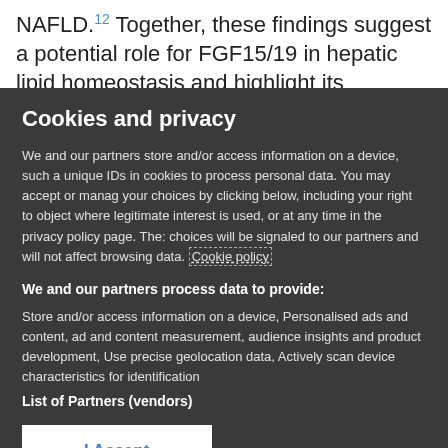NAFLD.12 Together, these findings suggest a potential role for FGF15/19 in hepatic lipid homeostasis and highlight its
Cookies and privacy
We and our partners store and/or access information on a device, such as unique IDs in cookies to process personal data. You may accept or manage your choices by clicking below, including your right to object where legitimate interest is used, or at any time in the privacy policy page. These choices will be signaled to our partners and will not affect browsing data. Cookie policy
We and our partners process data to provide:
Store and/or access information on a device, Personalised ads and content, ad and content measurement, audience insights and product development, Use precise geolocation data, Actively scan device characteristics for identification
List of Partners (vendors)
I Accept